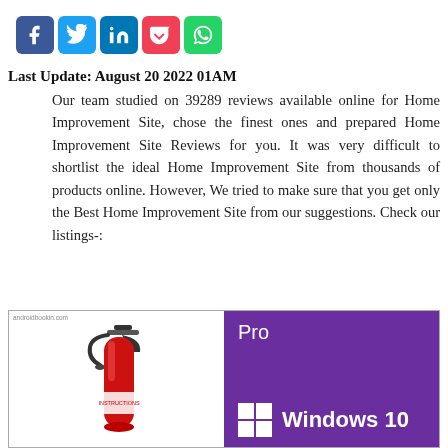[Figure (other): Row of 5 social media share icons: Facebook (blue), Twitter (light blue), LinkedIn (blue), Pocket (red/pink), WhatsApp (green)]
Last Update: August 20 2022 01AM
Our team studied on 39289 reviews available online for Home Improvement Site, chose the finest ones and prepared Home Improvement Site Reviews for you. It was very difficult to shortlist the ideal Home Improvement Site from thousands of products online. However, We tried to make sure that you get only the Best Home Improvement Site from our suggestions. Check our listings-:
[Figure (photo): Composite image: left half shows a red fire extinguisher on white background with watermark 'androidbookin.com'; right half shows a purple Windows 10 Pro product box with white Windows logo and text 'Pro' and 'Windows 10'.]